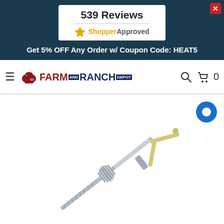539 Reviews
[Figure (logo): ShopperApproved logo with star icon and text]
Get 5% OFF Any Order w/ Coupon Code: HEAT5
[Figure (logo): Farm and Ranch Depot logo with cow icon, navigation hamburger menu, search icon, and cart icon showing 0 items]
[Figure (photo): Product photo of a coil cleaning brush with a long threaded rod and bent handle, displayed on white background]